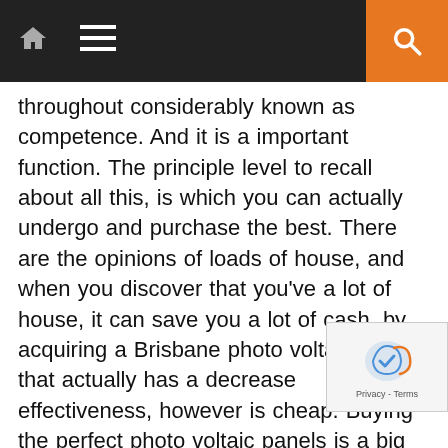Navigation bar with home, menu, and search icons
throughout considerably known as competence. And it is a important function. The principle level to recall about all this, is which you can actually undergo and purchase the best. There are the opinions of loads of house, and when you discover that you've a lot of house, it can save you a lot of cash, by acquiring a Brisbane photo voltaic panels that actually has a decrease effectiveness, however is cheap. Buying the perfect photo voltaic panels is a big important, when you deliberate that these solar energy panels will previous so long as quite a few mortgages do! As such, allow us to take a look at buying photo voltaic panels which can be high to your necessities! The main step is to know your necessities. It is a massive vital, as a result of it could all of the variance. If you should discover the perfect, then
[Figure (logo): reCAPTCHA badge with Privacy - Terms text]